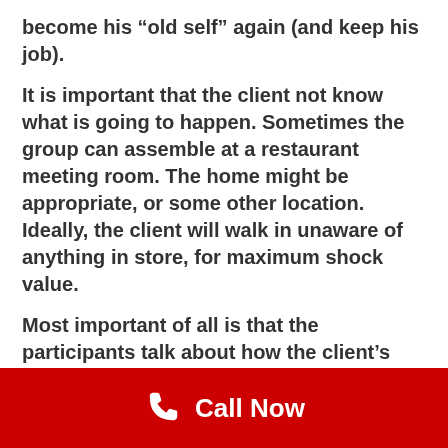become his “old self” again (and keep his job).
It is important that the client not know what is going to happen. Sometimes the group can assemble at a restaurant meeting room. The home might be appropriate, or some other location. Ideally, the client will walk in unaware of anything in store, for maximum shock value.
Most important of all is that the participants talk about how the client’s addiction has impacted them, about their feelings, and not direct comments at the client:
[Figure (other): Red call-to-action bar with phone icon and 'Call Now' text in white]